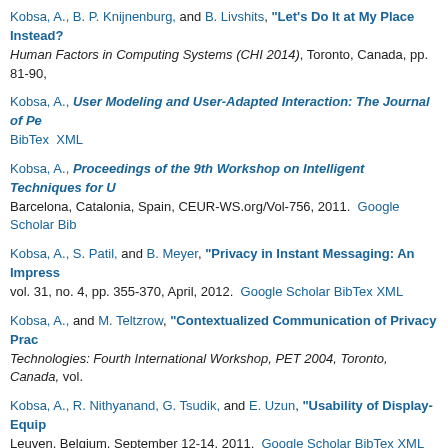Kobsa, A., B. P. Knijnenburg, and B. Livshits, "Let's Do It at My Place Instead?": Human Factors in Computing Systems (CHI 2014), Toronto, Canada, pp. 81-90,
Kobsa, A., User Modeling and User-Adapted Interaction: The Journal of Pe... BibTex XML
Kobsa, A., Proceedings of the 9th Workshop on Intelligent Techniques for U... Barcelona, Catalonia, Spain, CEUR-WS.org/Vol-756, 2011. Google Scholar BibTex
Kobsa, A., S. Patil, and B. Meyer, "Privacy in Instant Messaging: An Impress... vol. 31, no. 4, pp. 355-370, April, 2012. Google Scholar BibTex XML
Kobsa, A., and M. Teltzrow, "Contextualized Communication of Privacy Prac... Technologies: Fourth International Workshop, PET 2004, Toronto, Canada, vol.
Kobsa, A., R. Nithyanand, G. Tsudik, and E. Uzun, "Usability of Display-Equip... Leuven, Belgium, September 12-14, 2011. Google Scholar BibTex XML
Kobsa, A., "Privacy-Enhanced Personalization (cover article)", Communicatio... XML
Kobsa, A., and J. Fink, "An LDAP-Based User Modeling Server and its Evalu... Modeling and User-Adapted Interaction: The Journal of Personalization Resear...
Kobsa, A., R. Nithyanand, G. Tsudik, and E. Uzun, "Can Jannie Verify? Usabil... Computer Security, vol. 21, no. 3, pp. 347-370, July, 2013. DOI Google Scholar
« first ‹ previous 1 2